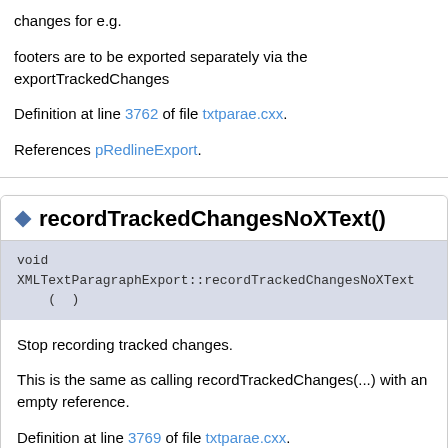changes for e.g.
footers are to be exported separately via the exportTrackedChanges
Definition at line 3762 of file txtparae.cxx.
References pRedlineExport.
recordTrackedChangesNoXText()
void XMLTextParagraphExport::recordTrackedChangesNoXText ( )
Stop recording tracked changes.
This is the same as calling recordTrackedChanges(...) with an empty reference.
Definition at line 3769 of file txtparae.cxx.
References pRedlineExport.